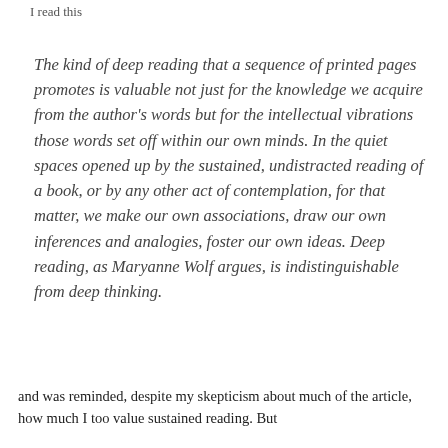I read this
The kind of deep reading that a sequence of printed pages promotes is valuable not just for the knowledge we acquire from the author's words but for the intellectual vibrations those words set off within our own minds. In the quiet spaces opened up by the sustained, undistracted reading of a book, or by any other act of contemplation, for that matter, we make our own associations, draw our own inferences and analogies, foster our own ideas. Deep reading, as Maryanne Wolf argues, is indistinguishable from deep thinking.
and was reminded, despite my skepticism about much of the article, how much I too value sustained reading. But